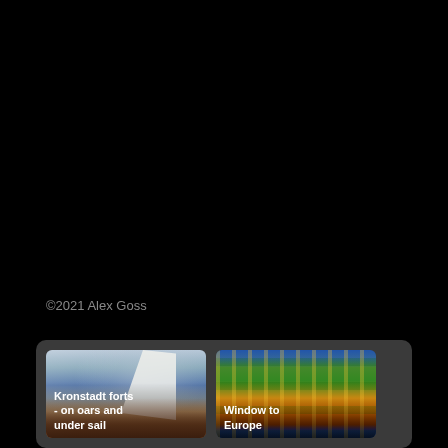©2021 Alex Goss
[Figure (photo): Thumbnail image of sailing boat on open water with sail visible and people in orange life jackets, with caption 'Kronstadt forts - on oars and under sail']
[Figure (photo): Thumbnail image of ornately decorated boat bow with green and gold decorations and crowds, with caption 'Window to Europe']